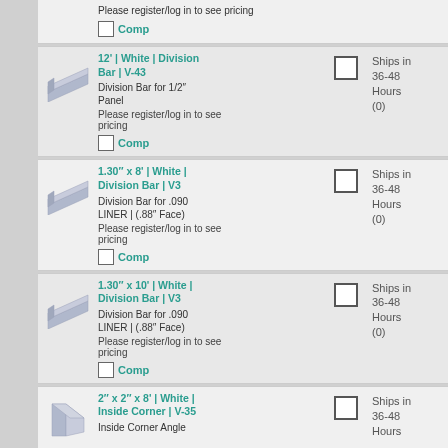Please register/log in to see pricing
Comp
12' | White | Division Bar | V-43
Division Bar for 1/2" Panel
Please register/log in to see pricing
Comp
Ships in 36-48 Hours (0)
1.30" x 8' | White | Division Bar | V3
Division Bar for .090 LINER | (.88" Face)
Please register/log in to see pricing
Comp
Ships in 36-48 Hours (0)
1.30" x 10' | White | Division Bar | V3
Division Bar for .090 LINER | (.88" Face)
Please register/log in to see pricing
Comp
Ships in 36-48 Hours (0)
2" x 2" x 8' | White | Inside Corner | V-35
Inside Corner Angle
Ships in 36-48 Hours